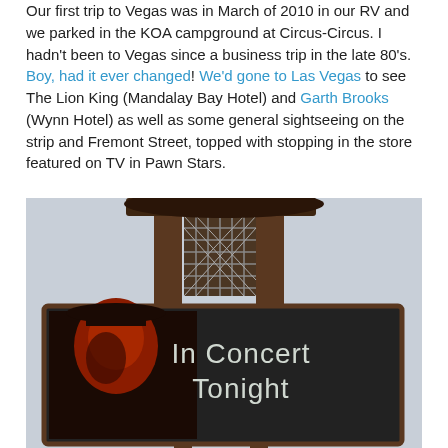Our first trip to Vegas was in March of 2010 in our RV and we parked in the KOA campground at Circus-Circus. I hadn't been to Vegas since a business trip in the late 80's. Boy, had it ever changed! We'd gone to Las Vegas to see The Lion King (Mandalay Bay Hotel) and Garth Brooks (Wynn Hotel) as well as some general sightseeing on the strip and Fremont Street, topped with stopping in the store featured on TV in Pawn Stars.
[Figure (photo): A billboard sign at the Wynn Hotel showing a performer's image in red tones on the left side and text 'In Concert Tonight' on a dark background, mounted on a brown latticed post structure.]